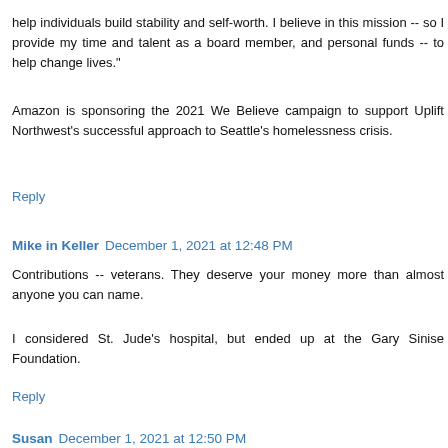help individuals build stability and self-worth. I believe in this mission -- so I provide my time and talent as a board member, and personal funds -- to help change lives."
Amazon is sponsoring the 2021 We Believe campaign to support Uplift Northwest's successful approach to Seattle's homelessness crisis.
Reply
Mike in Keller  December 1, 2021 at 12:48 PM
Contributions -- veterans. They deserve your money more than almost anyone you can name.
I considered St. Jude's hospital, but ended up at the Gary Sinise Foundation.
Reply
Susan  December 1, 2021 at 12:50 PM